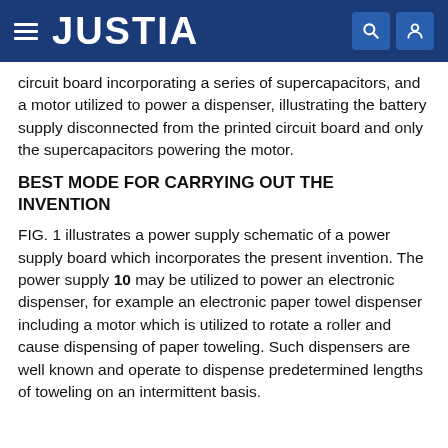JUSTIA
circuit board incorporating a series of supercapacitors, and a motor utilized to power a dispenser, illustrating the battery supply disconnected from the printed circuit board and only the supercapacitors powering the motor.
BEST MODE FOR CARRYING OUT THE INVENTION
FIG. 1 illustrates a power supply schematic of a power supply board which incorporates the present invention. The power supply 10 may be utilized to power an electronic dispenser, for example an electronic paper towel dispenser including a motor which is utilized to rotate a roller and cause dispensing of paper toweling. Such dispensers are well known and operate to dispense predetermined lengths of toweling on an intermittent basis.